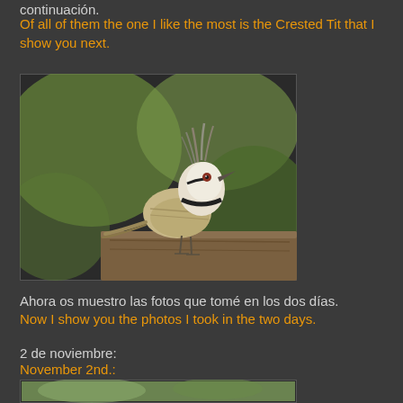continuación.
Of all of them the one I like the most is the Crested Tit that I show you next.
[Figure (photo): A Crested Tit bird perched on a wooden surface, with a distinctive black and white crest, photographed against a blurred green background.]
Ahora os muestro las fotos que tomé en los dos días.
Now I show you the photos I took in the two days.
2 de noviembre:
November 2nd.:
[Figure (photo): Partial view of a second bird photo, cropped at the bottom of the page, showing a green/blurred background.]